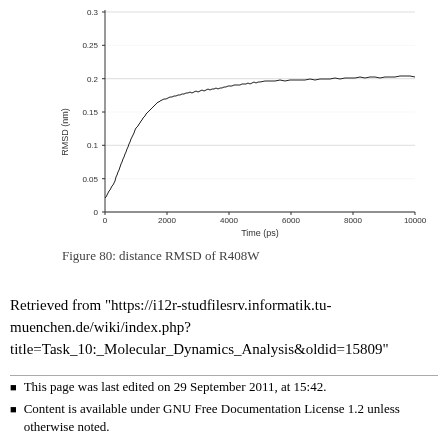[Figure (continuous-plot): Line plot showing RMSD (nm) vs Time (ps) for R408W. The curve rises steeply from ~0.05 nm at time 0 to ~0.22 nm around 1500 ps, then fluctuates around 0.23-0.25 nm through 10000 ps.]
Figure 80: distance RMSD of R408W
Retrieved from "https://i12r-studfilesrv.informatik.tu-muenchen.de/wiki/index.php?title=Task_10:_Molecular_Dynamics_Analysis&oldid=15809"
This page was last edited on 29 September 2011, at 15:42.
Content is available under GNU Free Documentation License 1.2 unless otherwise noted.